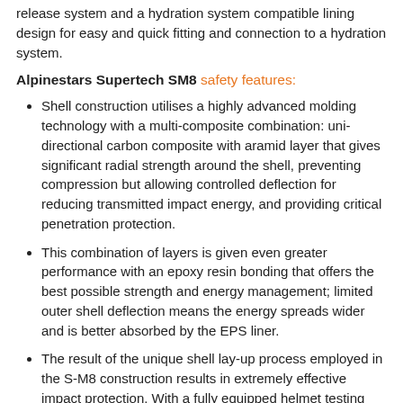release system and a hydration system compatible lining design for easy and quick fitting and connection to a hydration system.
Alpinestars Supertech SM8 safety features:
Shell construction utilises a highly advanced molding technology with a multi-composite combination: uni-directional carbon composite with aramid layer that gives significant radial strength around the shell, preventing compression but allowing controlled deflection for reducing transmitted impact energy, and providing critical penetration protection.
This combination of layers is given even greater performance with an epoxy resin bonding that offers the best possible strength and energy management; limited outer shell deflection means the energy spreads wider and is better absorbed by the EPS liner.
The result of the unique shell lay-up process employed in the S-M8 construction results in extremely effective impact protection. With a fully equipped helmet testing facility, within Alpinestars Racing Development Center, an exhaustive impact research program has resulted in the Supertech M8 returning linear and oblique impact performance which far improves upon current helmet regulation standard limits. For direct, linear, impact by an average magnitude of 41% and for rotational acceleration, oblique, impact performance by an average of 48%.